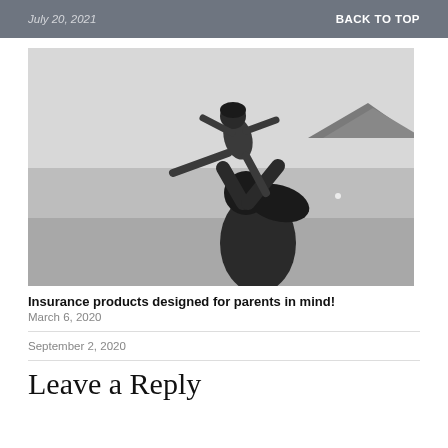July 20, 2021    BACK TO TOP
[Figure (photo): Black and white photo of a mother lifting a child into the air at a beach, with a mountain in the background.]
Insurance products designed for parents in mind!
March 6, 2020
September 2, 2020
Leave a Reply